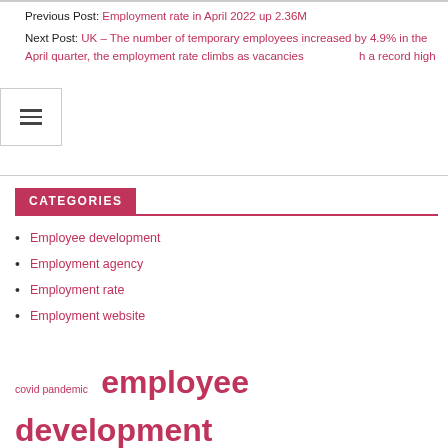Previous Post: Employment rate in April 2022 up 2.36M
Next Post: UK – The number of temporary employees increased by 4.9% in the April quarter, the employment rate climbs as vacancies reach a record high
CATEGORIES
Employee development
Employment agency
Employment rate
Employment website
covid pandemic  employee development  employment agency  employment services  employment rate  job seekers  labor force